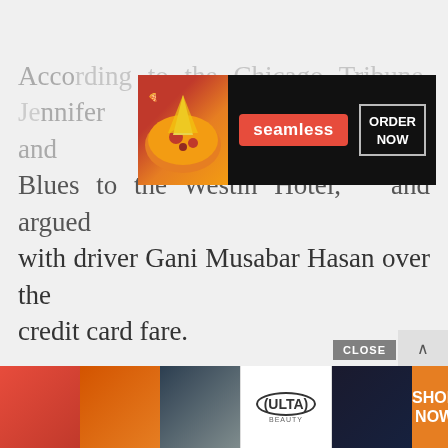According to the Chicago Tribune, Jennifer and [obscured by ad] of Blues to the Westin Hotel, and argued with driver Gani Musabar Hasan over the credit card fare.
[Figure (screenshot): Seamless food delivery advertisement banner with pizza image, 'seamless' logo in red, and 'ORDER NOW' button]
[Figure (screenshot): Bid to Win auction advertisement: 'BID TO WIN!' diagonal banner, 'ZOOM w/ BEST-SELLING AUTHOR ALAN' text with author photo]
[Figure (screenshot): Video overlay showing a man with glasses and mustache, with black area above]
[Figure (screenshot): Ulta Beauty advertisement banner at bottom with makeup/beauty images and 'SHOP NOW' button]